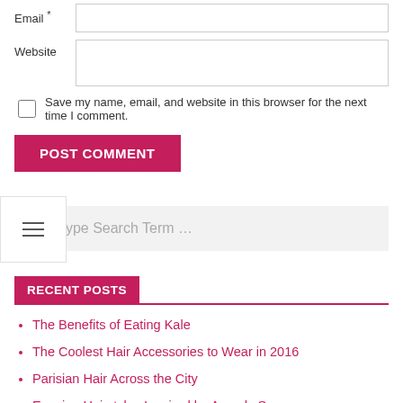Email *
Website
Save my name, email, and website in this browser for the next time I comment.
POST COMMENT
Type Search Term …
RECENT POSTS
The Benefits of Eating Kale
The Coolest Hair Accessories to Wear in 2016
Parisian Hair Across the City
Evening Hairstyles Inspired by Awards Season
Mid-Length Haircuts Are on Trend